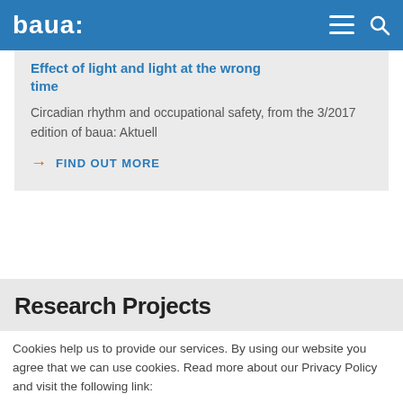baua:
Effect of light and light at the wrong time
Circadian rhythm and occupational safety, from the 3/2017 edition of baua: Aktuell
→ FIND OUT MORE
Research Projects
Cookies help us to provide our services. By using our website you agree that we can use cookies. Read more about our Privacy Policy and visit the following link:
→ Privacy Policy